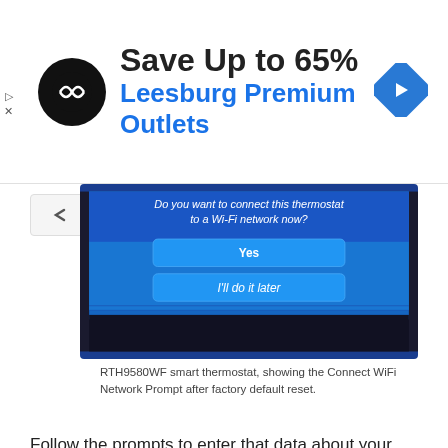[Figure (infographic): Advertisement banner: Save Up to 65% Leesburg Premium Outlets with circular logo and diamond arrow icon]
[Figure (photo): RTH9580WF smart thermostat screen showing Wi-Fi network connection prompt with Yes and I'll do it later buttons on blue background]
RTH9580WF smart thermostat, showing the Connect WiFi Network Prompt after factory default reset.
Follow the prompts to enter that data about your WiFi network and furnace system.
8. Done with How to Clear Settings on Honeywell Thermostat